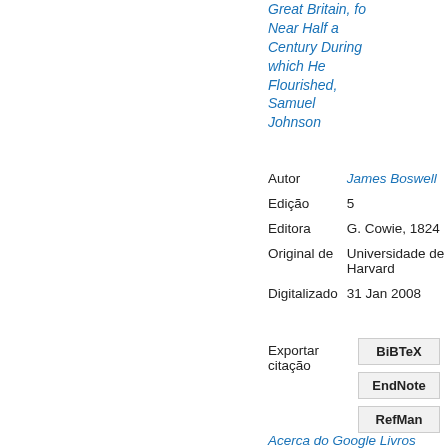Great Britain, for Near Half a Century During which He Flourished, Samuel Johnson
| Label | Value |
| --- | --- |
| Autor | James Boswell |
| Edição | 5 |
| Editora | G. Cowie, 1824 |
| Original de | Universidade de Harvard |
| Digitalizado | 31 Jan 2008 |
Exportar citação
BiBTeX
EndNote
RefMan
Acerca do Google Livros